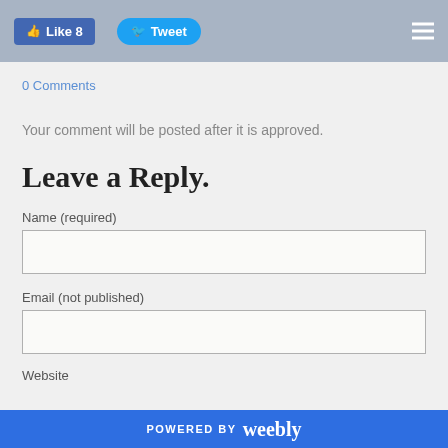Like 8  Tweet
0 Comments
Your comment will be posted after it is approved.
Leave a Reply.
Name (required)
Email (not published)
Website
POWERED BY weebly